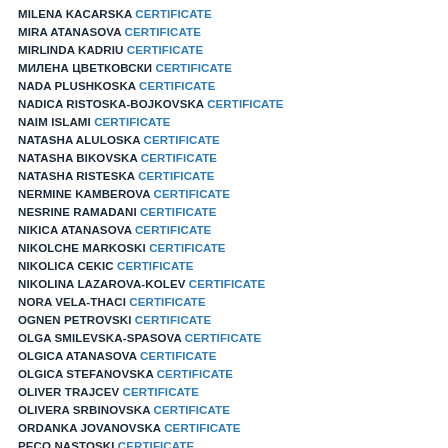MILENA KACARSKA CERTIFICATE
MIRA ATANASOVA CERTIFICATE
MIRLINDA KADRIU CERTIFICATE
МИЛЕНА ЦВЕТКОВСКИ CERTIFICATE
NADA PLUSHKOSKA CERTIFICATE
NADICA RISTOSKA-BOJKOVSKA CERTIFICATE
NAIM ISLAMI CERTIFICATE
NATASHA ALULOSKA CERTIFICATE
NATASHA BIKOVSKA CERTIFICATE
NATASHA RISTESKA CERTIFICATE
NERMINE KAMBEROVA CERTIFICATE
NESRINE RAMADANI CERTIFICATE
NIKICA ATANASOVA CERTIFICATE
NIKOLCHE MARKOSKI CERTIFICATE
NIKOLICA CEKIC CERTIFICATE
NIKOLINA LAZAROVA-KOLEV CERTIFICATE
NORA VELA-THACI CERTIFICATE
OGNEN PETROVSKI CERTIFICATE
OLGA SMILEVSKA-SPASOVA CERTIFICATE
OLGICA ATANASOVA CERTIFICATE
OLGICA STEFANOVSKA CERTIFICATE
OLIVER TRAJCEV CERTIFICATE
OLIVERA SRBINOVSKA CERTIFICATE
ORDANKA JOVANOVSKA CERTIFICATE
PECO NASTOSKI CERTIFICATE